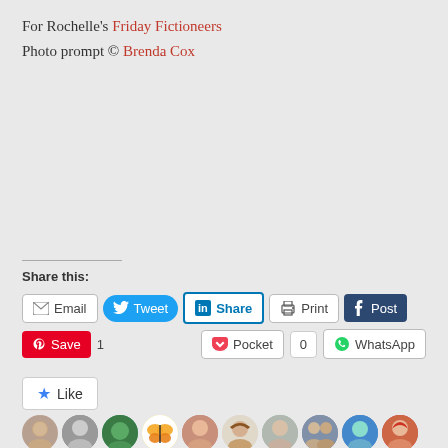For Rochelle's Friday Fictioneers
Photo prompt © Brenda Cox
Share this:
31 bloggers like this.